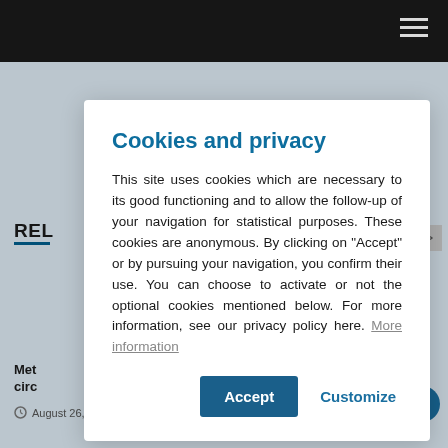Navigation bar with hamburger menu
Cookies and privacy
This site uses cookies which are necessary to its good functioning and to allow the follow-up of your navigation for statistical purposes. These cookies are anonymous. By clicking on "Accept" or by pursuing your navigation, you confirm their use. You can choose to activate or not the optional cookies mentioned below. For more information, see our privacy policy here. More information
Accept
Customize